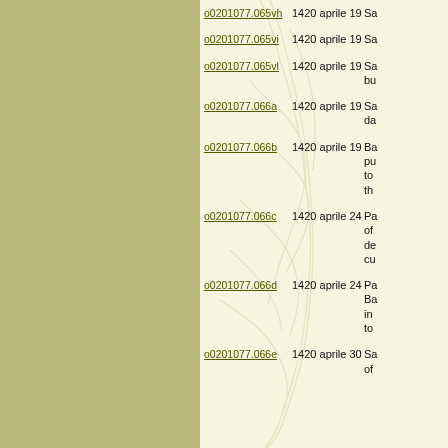o0201077.065vh | 1420 aprile 19 | Sa
o0201077.065vi | 1420 aprile 19 | Sa
o0201077.065vl | 1420 aprile 19 | Sa bu
o0201077.066a | 1420 aprile 19 | Sa da
o0201077.066b | 1420 aprile 19 | Ba pu to th
o0201077.066c | 1420 aprile 24 | Pa of de cu
o0201077.066d | 1420 aprile 24 | Pa Ba in to
o0201077.066e | 1420 aprile 30 | Sa of